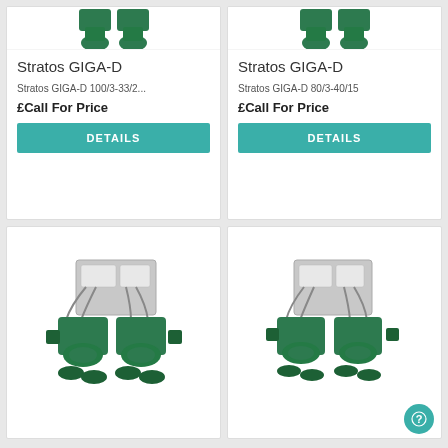[Figure (photo): Stratos GIGA-D pump product image, top portion visible]
Stratos GIGA-D
Stratos GIGA-D 100/3-33/2...
£Call For Price
DETAILS
[Figure (photo): Stratos GIGA-D pump product image, top portion visible]
Stratos GIGA-D
Stratos GIGA-D 80/3-40/15
£Call For Price
DETAILS
[Figure (photo): Stratos GIGA-D twin pump with controller unit, full product image]
[Figure (photo): Stratos GIGA-D twin pump with controller unit, full product image]